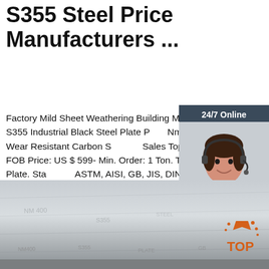S355 Steel Price Manufacturers ...
Factory Mild Sheet Weathering Building Material S235 S355 Industrial Black Steel Plate Price Nm360 Nm400 Wear Resistant Carbon Steel for Sales Top Quality. FOB Price: US $ 599- Min. Order: 1 Ton. Type: Steel Plate. Standard: ASTM, AISI, GB, JIS, DIN, BS.
[Figure (other): Green 'Get Price' button]
[Figure (other): 24/7 Online chat widget with customer service representative photo, 'Click here for free chat!' text, and orange QUOTATION button]
[Figure (photo): Photo of gray/blue steel plate surface with markings, and TOP logo overlay in bottom right]